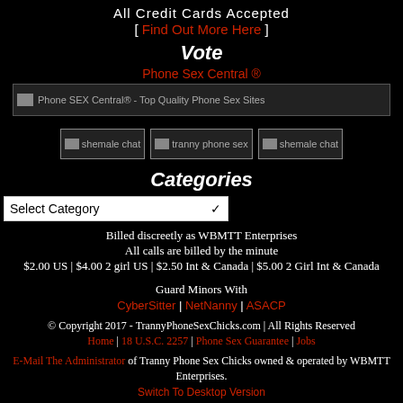All Credit Cards Accepted
[ Find Out More Here ]
Vote
Phone Sex Central ®
[Figure (other): Banner image: Phone SEX Central® - Top Quality Phone Sex Sites]
[Figure (other): Three thumbnail images: shemale chat, tranny phone sex, shemale chat]
Categories
Select Category dropdown
Billed discreetly as WBMTT Enterprises
All calls are billed by the minute
$2.00 US | $4.00 2 girl US | $2.50 Int & Canada | $5.00 2 Girl Int & Canada
Guard Minors With
CyberSitter | NetNanny | ASACP
© Copyright 2017 - TrannyPhoneSexChicks.com | All Rights Reserved
Home | 18 U.S.C. 2257 | Phone Sex Guarantee | Jobs
E-Mail The Administrator of Tranny Phone Sex Chicks owned & operated by WBMTT Enterprises.
Switch To Desktop Version